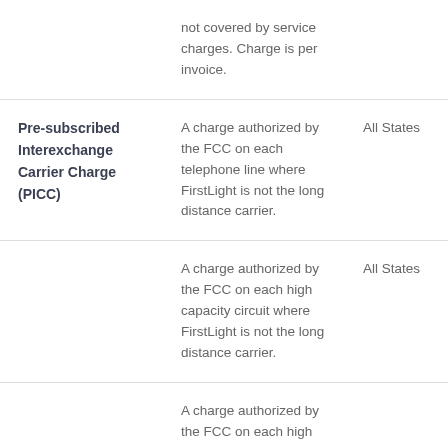| Charge Name | Description | Applicability |
| --- | --- | --- |
|  | not covered by service charges. Charge is per invoice. |  |
| Pre-subscribed Interexchange Carrier Charge (PICC) | A charge authorized by the FCC on each telephone line where FirstLight is not the long distance carrier. | All States |
|  | A charge authorized by the FCC on each high capacity circuit where FirstLight is not the long distance carrier. | All States |
|  | A charge authorized by the FCC on each high capacity circuit |  |